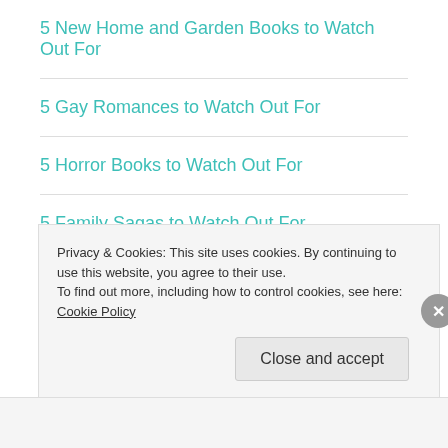5 New Home and Garden Books to Watch Out For
5 Gay Romances to Watch Out For
5 Horror Books to Watch Out For
5 Family Sagas to Watch Out For
Our Numbered Days by Neil Hilborn
The best Translations of Clockwork (partially visible)
Privacy & Cookies: This site uses cookies. By continuing to use this website, you agree to their use. To find out more, including how to control cookies, see here: Cookie Policy
Close and accept